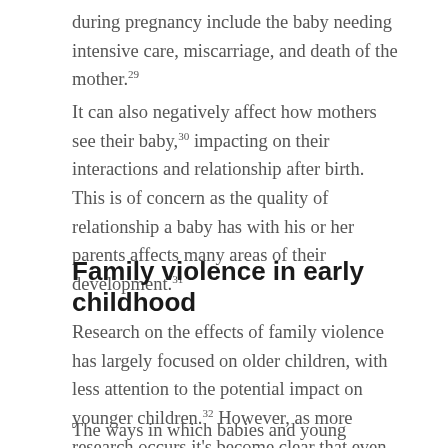during pregnancy include the baby needing intensive care, miscarriage, and death of the mother.29
It can also negatively affect how mothers see their baby,30 impacting on their interactions and relationship after birth. This is of concern as the quality of relationship a baby has with his or her parents affects many areas of their development.31
Family violence in early childhood
Research on the effects of family violence has largely focused on older children, with less attention to the potential impact on younger children.32 However, as more research occurs it's become clear that even very young children can be affected.
The ways in which babies and young children are affected depends partly upon the developmental stage they're